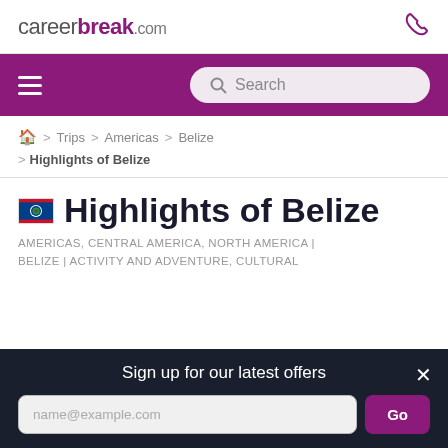careerbreak.com
Search
Home > Trips > Americas > Belize > Highlights of Belize
Highlights of Belize
AMERICAS, CENTRAL AMERICA, NORTH AMERICA | BELIZE | ACTIVITY AND ADVENTURE, CULTURAL
Sign up for our latest offers
name@example.com